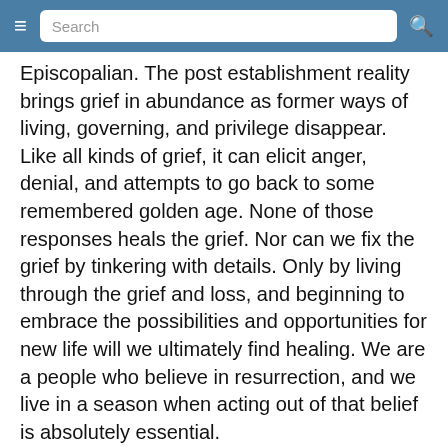≡  Search  🔍
Episcopalian. The post establishment reality brings grief in abundance as former ways of living, governing, and privilege disappear. Like all kinds of grief, it can elicit anger, denial, and attempts to go back to some remembered golden age. None of those responses heals the grief. Nor can we fix the grief by tinkering with details. Only by living through the grief and loss, and beginning to embrace the possibilities and opportunities for new life will we ultimately find healing. We are a people who believe in resurrection, and we live in a season when acting out of that belief is absolutely essential.
The difficulties that this body has experienced in the past triennium are not the fault of any one person, structure, or decision. They are a symptom of collective grief. We have the...